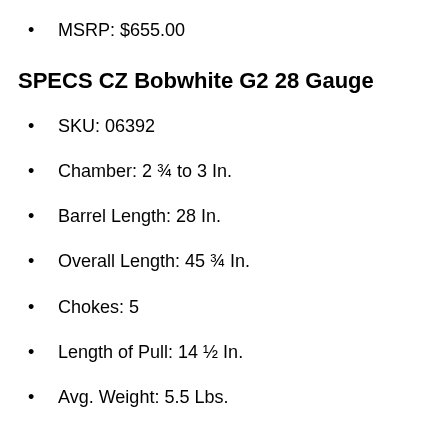MSRP: $655.00
SPECS CZ Bobwhite G2 28 Gauge
SKU: 06392
Chamber: 2 ¾ to 3 In.
Barrel Length: 28 In.
Overall Length: 45 ¾ In.
Chokes: 5
Length of Pull: 14 ½ In.
Avg. Weight: 5.5 Lbs.